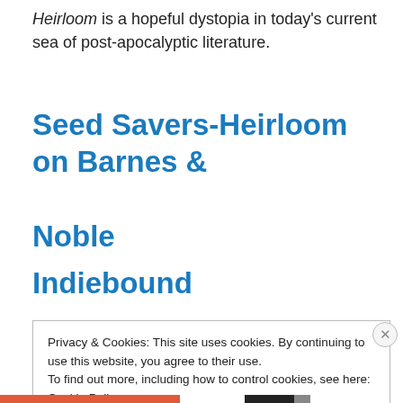Heirloom is a hopeful dystopia in today's current sea of post-apocalyptic literature.
Seed Savers-Heirloom on Barnes & Noble
Indiebound
Privacy & Cookies: This site uses cookies. By continuing to use this website, you agree to their use.
To find out more, including how to control cookies, see here: Cookie Policy
Close and accept